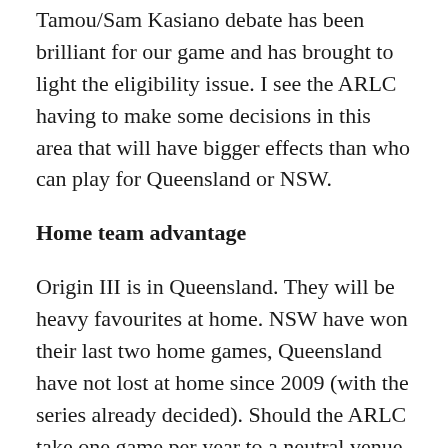Tamou/Sam Kasiano debate has been brilliant for our game and has brought to light the eligibility issue. I see the ARLC having to make some decisions in this area that will have bigger effects than who can play for Queensland or NSW.
Home team advantage
Origin III is in Queensland. They will be heavy favourites at home. NSW have won their last two home games, Queensland have not lost at home since 2009 (with the series already decided). Should the ARLC take one game per year to a neutral venue for the city with the